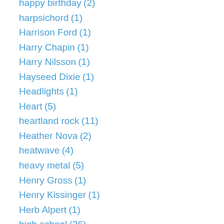happy birthday (2)
harpsichord (1)
Harrison Ford (1)
Harry Chapin (1)
Harry Nilsson (1)
Hayseed Dixie (1)
Headlights (1)
Heart (5)
heartland rock (11)
Heather Nova (2)
heatwave (4)
heavy metal (5)
Henry Gross (1)
Henry Kissinger (1)
Herb Alpert (1)
high school (26)
history (4)
hobbits (1)
hockey (1)
Hoi Polloi (1)